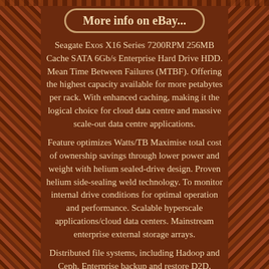[Figure (other): Wicker/basket-weave textured border on left and right sides of page with dark brown color]
More info on eBay...
Seagate Exos X16 Series 7200RPM 256MB Cache SATA 6Gb/s Enterprise Hard Drive HDD. Mean Time Between Failures (MTBF). Offering the highest capacity available for more petabytes per rack. With enhanced caching, making it the logical choice for cloud data centre and massive scale-out data centre applications.
Feature optimizes Watts/TB Maximise total cost of ownership savings through lower power and weight with helium sealed-drive design. Proven helium side-sealing weld technology. To monitor internal drive conditions for optimal operation and performance. Scalable hyperscale applications/cloud data centers. Mainstream enterprise external storage arrays.
Distributed file systems, including Hadoop and Ceph. Enterprise backup and restore D2D, virtual tape.
With the support of the world's leading OEMs, CMs and Resellers, Server Part Deals is able to offer the Server Enterprise market value that is simply unseen in the marketplace. We offer the best in class service when